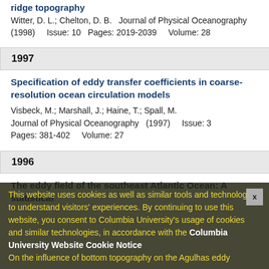ridge topography
Witter, D. L.; Chelton, D. B.  Journal of Physical Oceanography (1998)    Issue: 10  Pages: 2019-2039    Volume: 28
1997
Specification of eddy transfer coefficients in coarse-resolution ocean circulation models
Visbeck, M.; Marshall, J.; Haine, T.; Spall, M.
Journal of Physical Oceanography  (1997)     Issue: 3
Pages: 381-402    Volume: 27
1996
The eddy field of the southeast Atlantic Ocean: A statistical
This website uses cookies as well as similar tools and technologies to understand visitors' experiences. By continuing to use this website, you consent to Columbia University's usage of cookies and similar technologies, in accordance with the Columbia University Website Cookie Notice
On the influence of bottom topography on the Agulhas eddy